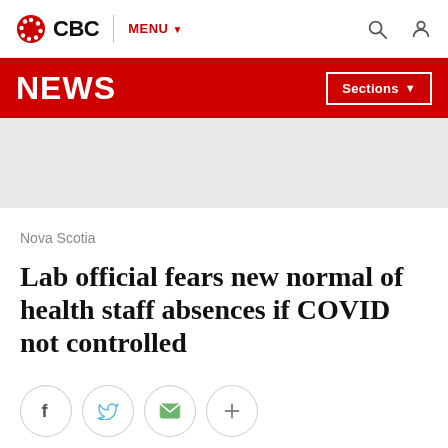CBC | MENU
NEWS | Sections
[Figure (other): Grey advertisement placeholder banner]
Nova Scotia
Lab official fears new normal of health staff absences if COVID not controlled
[Figure (infographic): Social sharing buttons: Facebook, Twitter, Email, More (+)]